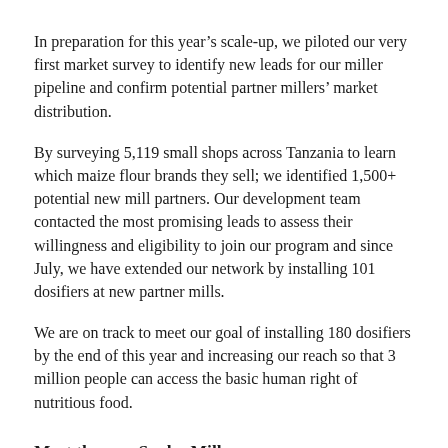In preparation for this year's scale-up, we piloted our very first market survey to identify new leads for our miller pipeline and confirm potential partner millers' market distribution.
By surveying 5,119 small shops across Tanzania to learn which maize flour brands they sell; we identified 1,500+ potential new mill partners. Our development team contacted the most promising leads to assess their willingness and eligibility to join our program and since July, we have extended our network by installing 101 dosifiers at new partner mills.
We are on track to meet our goal of installing 180 dosifiers by the end of this year and increasing our reach so that 3 million people can access the basic human right of nutritious food.
Meet the new Sanku Millers
[Figure (photo): Bottom portion of a photograph showing people, partially visible at the bottom of the page.]